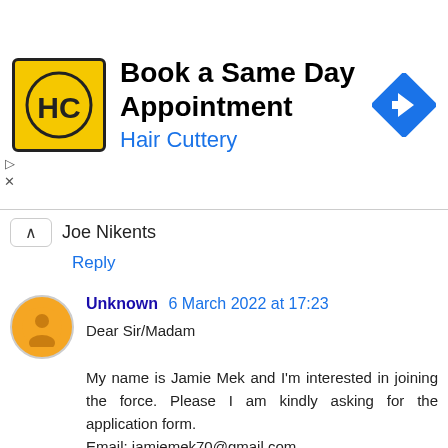[Figure (other): Hair Cuttery advertisement banner with HC logo, text 'Book a Same Day Appointment' and 'Hair Cuttery', and a blue diamond navigation arrow icon]
Joe Nikents
Reply
Unknown 6 March 2022 at 17:23
Dear Sir/Madam

My name is Jamie Mek and I'm interested in joining the force. Please I am kindly asking for the application form.
Email: jamiemek70@gmail.com
Thank you.
Reply
Unknown 7 March 2022 at 01:17
My name is Samuel Jack and I am very interested in joining